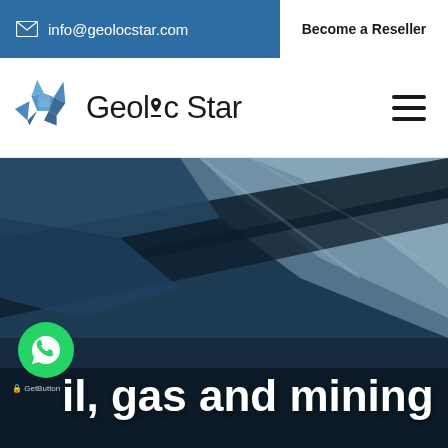info@geolocstar.com
Become a Reseller
Geoloc Star
[Figure (screenshot): Aerial/overhead photograph of a rocky mining or geological site with dark layers, viewed from above, with dark blue overlay tones.]
oil, gas and mining